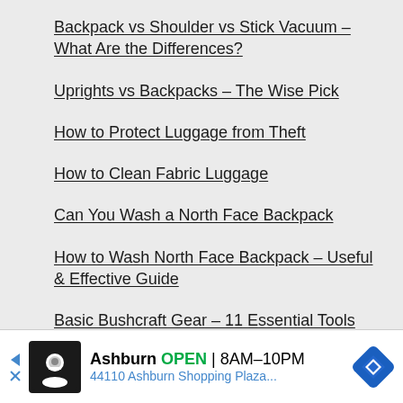Backpack vs Shoulder vs Stick Vacuum – What Are the Differences?
Uprights vs Backpacks – The Wise Pick
How to Protect Luggage from Theft
How to Clean Fabric Luggage
Can You Wash a North Face Backpack
How to Wash North Face Backpack – Useful & Effective Guide
Basic Bushcraft Gear – 11 Essential Tools for Survival
How to Choose a Backpack Leaf Blower
Ashburn OPEN 8AM–10PM
44110 Ashburn Shopping Plaza...